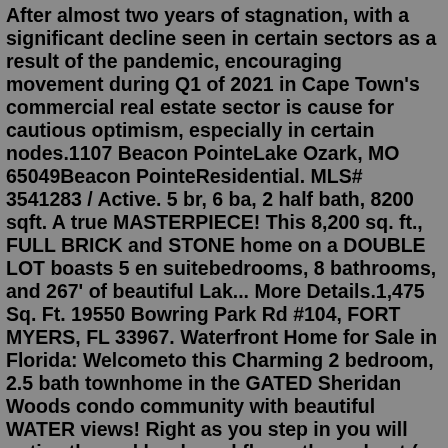After almost two years of stagnation, with a significant decline seen in certain sectors as a result of the pandemic, encouraging movement during Q1 of 2021 in Cape Town's commercial real estate sector is cause for cautious optimism, especially in certain nodes.1107 Beacon PointeLake Ozark, MO 65049Beacon PointeResidential. MLS# 3541283 / Active. 5 br, 6 ba, 2 half bath, 8200 sqft. A true MASTERPIECE! This 8,200 sq. ft., FULL BRICK and STONE home on a DOUBLE LOT boasts 5 en suitebedrooms, 8 bathrooms, and 267' of beautiful Lak... More Details.1,475 Sq. Ft. 19550 Bowring Park Rd #104, FORT MYERS, FL 33967. Waterfront Home for Sale in Florida: Welcometo this Charming 2 bedroom, 2.5 bath townhome in the GATED Sheridan Woods condo community with beautiful WATER views! Right as you step in you will notice the real hardwood floors throughout ( no carpet at all).Recent listings in Alabama of waterfront property for sale totaled almost 100,000 acres acres of waterfront property and a combined market value of $533